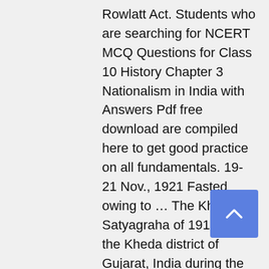Rowlatt Act. Students who are searching for NCERT MCQ Questions for Class 10 History Chapter 3 Nationalism in India with Answers Pdf free download are compiled here to get good practice on all fundamentals. 19-21 Nov., 1921 Fasted owing to ... The Kheda Satyagraha of 1918, in the Kheda district of Gujarat, India during the period of the British Raj, was a Satyagraha movement organized by Mohandas Gandhi. (i) Ahmedabad (Gujarat) – the cotton mill workers Satyagraha,
[Figure (other): Blue scroll-to-top button with upward chevron arrow icon]